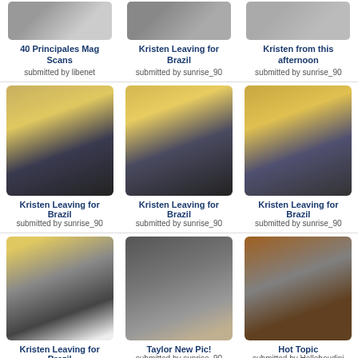[Figure (photo): Partial thumbnail row at top - 3 photos partially visible]
40 Principales Mag Scans
submitted by libenet
Kristen Leaving for Brazil
submitted by sunrise_90
Kristen from this afternoon
submitted by sunrise_90
[Figure (photo): Kristen wearing yellow/grey jacket and sunglasses at airport]
Kristen Leaving for Brazil
submitted by sunrise_90
[Figure (photo): Kristen wearing yellow/grey jacket and sunglasses at airport]
Kristen Leaving for Brazil
submitted by sunrise_90
[Figure (photo): Kristen wearing yellow/grey jacket and sunglasses at airport]
Kristen Leaving for Brazil
submitted by sunrise_90
[Figure (photo): Kristen wearing yellow/grey jacket at airport talking on phone]
Kristen Leaving for Brazil
submitted by sunrise_90
[Figure (photo): Taylor Lautner new promotional picture]
Taylor New Pic!
submitted by sunrise_90
[Figure (photo): Hot Topic store merchandise display]
Hot Topic
submitted by Hellohoudini
[Figure (photo): Partial thumbnail - Hot Topic store]
[Figure (photo): Partial thumbnail - Taylor Lautner at event]
[Figure (photo): Partial thumbnail - person at event]